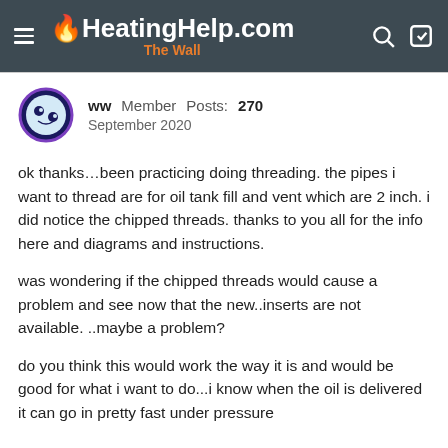HeatingHelp.com The Wall
ww  Member  Posts: 270  September 2020
ok thanks…been practicing doing threading. the pipes i want to thread are for oil tank fill and vent which are 2 inch. i did notice the chipped threads. thanks to you all for the info here and diagrams and instructions.
was wondering if the chipped threads would cause a problem and see now that the new..inserts are not available. ..maybe a problem?
do you think this would work the way it is and would be good for what i want to do...i know when the oil is delivered it can go in pretty fast under pressure